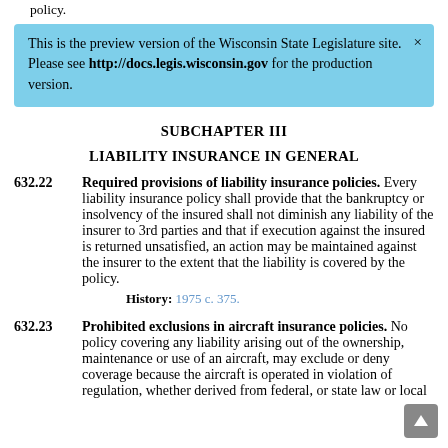policy.
[Figure (screenshot): Blue banner notification: 'This is the preview version of the Wisconsin State Legislature site. Please see http://docs.legis.wisconsin.gov for the production version.' with a close X button.]
SUBCHAPTER III
LIABILITY INSURANCE IN GENERAL
632.22   Required provisions of liability insurance policies. Every liability insurance policy shall provide that the bankruptcy or insolvency of the insured shall not diminish any liability of the insurer to 3rd parties and that if execution against the insured is returned unsatisfied, an action may be maintained against the insurer to the extent that the liability is covered by the policy.
History: 1975 c. 375.
632.23   Prohibited exclusions in aircraft insurance policies. No policy covering any liability arising out of the ownership, maintenance or use of an aircraft, may exclude or deny coverage because the aircraft is operated in violation of regulation, whether derived from federal, or state law or local